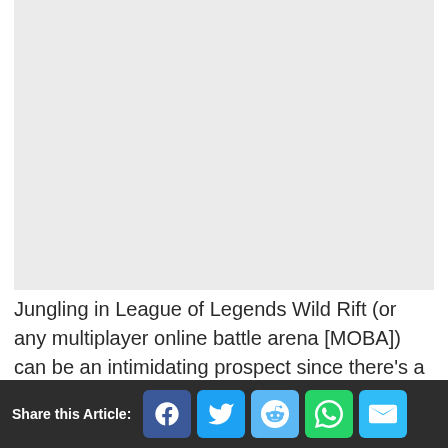[Figure (photo): Light grey placeholder image area at the top of the page]
Jungling in League of Legends Wild Rift (or any multiplayer online battle arena [MOBA]) can be an intimidating prospect since there's a lot more freedom
Share this Article: [Facebook] [Twitter] [Reddit] [WhatsApp] [Email]